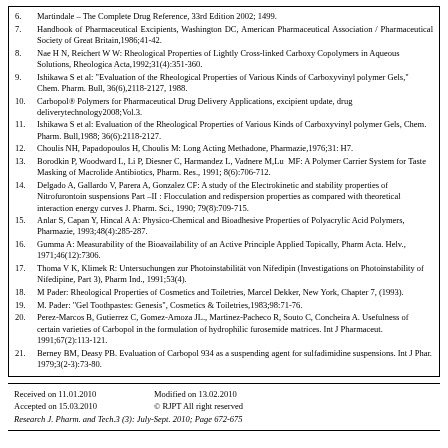6. Martindale – The Complete Drug Reference, 33rd Edition 2002; 1499.
7. Handbook of Pharmaceutical Excipients, Washington DC, American Pharmaceutical Association / Pharmaceutical Society of Great Britain,1986;41-42.
8. Nae H N, Reichert W W: Rheological Properties of Lightly Cross-linked Carboxy Copolymers in Aqueous Solutions, Rheologica Acta,1992;31(4):351-360.
9. Ishikawa S et al: "Evaluation of the Rheological Properties of Various Kinds of Carboxyvinyl polymer Gels," Chem. Pharm. Bull, 36(6),2118-2127, 1988.
10. Carbopol® Polymers for Pharmaceutical Drug Delivery Applications, excipient update, drug deliverytechnology2008;Vol.3.
11. Ishikawa S et al: Evaluation of the Rheological Properties of Various Kinds of Carboxyvinyl polymer Gels, Chem. Pharm. Bull,1988; 36(6):2118-2127.
12. Choulis NH, Papadopoulos H, Choulis M: Long Acting Methadone, Pharmazie,1976;31: H7.
13. Borodkin P, Woodward L, Li P, Diesner C, Harmandez L, Vadnere M,Lu MF: A Polymer Carrier System for Taste Masking of Macrolide Antibiotics, Pharm. Res., 1991; 8(6):706-712.
14. Delgado A, Gallardo V, Parera A, Gonzalez CF: A study of the Electrokinetic and stability properties of Nitrofurontoin suspensions Part –II : Flocculation and redispersion properties as compared with theoretical interaction energy curves J. Pharm. Sci., 1990; 79(8):709-715.
15. Anlar S, Capan Y, Hincal A A: Physico-Chemical and Bioadhesive Properties of Polyacrylic Acid Polymers, Pharmazie, 1993;48(4):285-287.
16. Gumma A: Measurability of the Bioavailability of an Active Principle Applied Topically, Pharm Acta. Helv., 1971;46(12):7306.
17. Thoma V K, Klimek R: Untersuchungen zur Photoinstabilität von Nifedipin (Investigations on Photoinstability of Nifedipine, Part 3), Pharm Ind., 1991;53(4).
18. M Pader: Rheological Properties of Cosmetics and Toiletries, Marcel Dekker, New York, Chapter 7, (1993).
19. M. Pader: "Gel Toothpastes: Genesis", Cosmetics & Toiletries,1983;98:71-76.
20. Perez-Marcos B, Gutierrez C, Gomez-Amoza JL., Martinez-Pacheco R, Souto C, Concheira A. Usefulness of certain varieties of Carbopol in the formulation of hydrophilic furosemide matrices. Int J Pharmaceut. 1991;67(2):113-121.
21. Berney BM, Deasy PB. Evaluation of Carbopol 934 as a suspending agent for sulfadimidine suspensions. Int J Phar. 1979;3(2-3):73-80.
Received on 11.01.2010    Modified on 13.02.2010
Accepted on 15.03.2010    © RJPT All right reserved
Research J. Pharm. and Tech.3 (3): July-Sept. 2010; Page 672-675